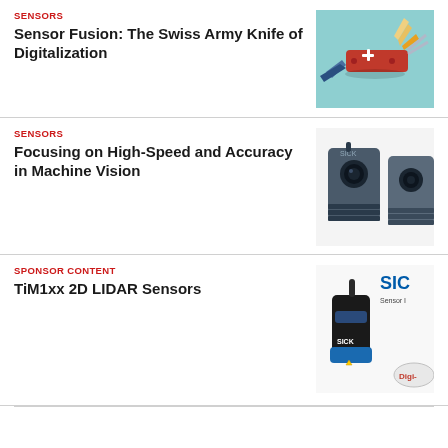SENSORS
Sensor Fusion: The Swiss Army Knife of Digitalization
[Figure (photo): Colorful illustration of a Swiss Army knife with sensor-themed tools including blue and orange components on a teal background]
SENSORS
Focusing on High-Speed and Accuracy in Machine Vision
[Figure (photo): Two black industrial machine vision cameras with heat sink fins against a white background]
SPONSOR CONTENT
TiM1xx 2D LIDAR Sensors
[Figure (photo): SICK brand 2D LIDAR sensor device in black and blue, with SICK logo and Digi- brand logos visible]